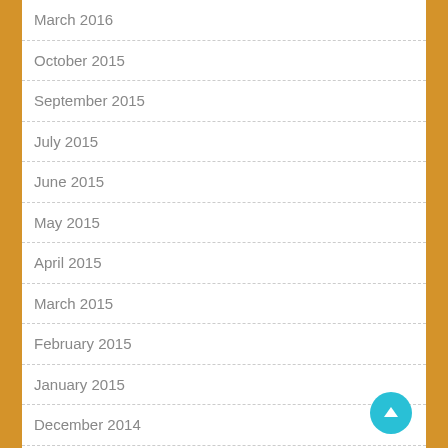March 2016
October 2015
September 2015
July 2015
June 2015
May 2015
April 2015
March 2015
February 2015
January 2015
December 2014
September 2014